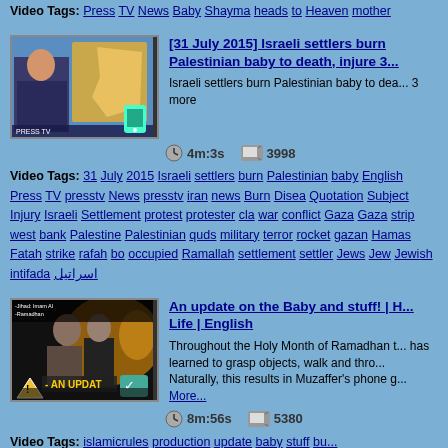Video Tags: Press TV News Baby Shayma heads to Heaven mother
[Figure (screenshot): News broadcast thumbnail showing a female news anchor with a map in the background]
[31 July 2015] Israeli settlers burn Palestinian baby to death, injure 3...
Israeli settlers burn Palestinian baby to death, injure 3 more
4m:3s   3998
Video Tags: 31 July 2015 Israeli settlers burn Palestinian baby English Press TV presstv News presstv iran news Burn Disease Quotation Subject Injury Israeli Settlement protest protester cla war conflict Gaza Gaza strip west bank Palestine Palestinian quds military terror rocket gazan Hamas Fatah strike rafah bo occupied Ramallah settlement settler Jews Jew Jewish intifada اسراتيل
[Figure (screenshot): Video thumbnail with text overlay showing two people and 'AN UPDATE' text with a yellow warning sign]
An update on the Baby and stuff! | H... Life | English
Throughout the Holy Month of Ramadhan t... has learned to grasp objects, walk and thro... Naturally, this results in Muzaffer's phone g... More...
8m:56s   5380
Video Tags: islamicrules production update baby stuff bu...